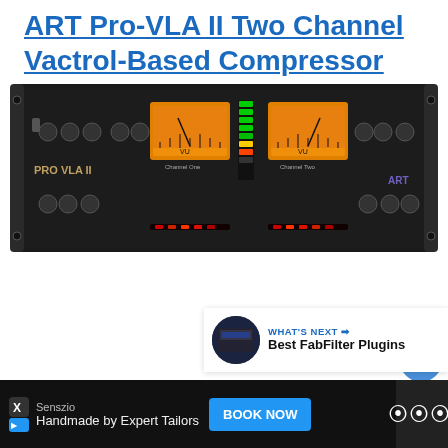ART Pro-VLA II Two Channel Vactrol-Based Compressor
[Figure (photo): ART Pro VLA II two-channel vactrol-based compressor rack unit, front panel view showing VU meters, knobs, and LED indicators]
[Figure (screenshot): Sidebar UI with heart/like button showing count of 1 and a share button]
[Figure (screenshot): What's Next panel showing thumbnail and title: Best FabFilter Plugins]
[Figure (screenshot): Advertisement bar: Senszio – Handmade by Expert Tailors, BOOK NOW button, and logo]